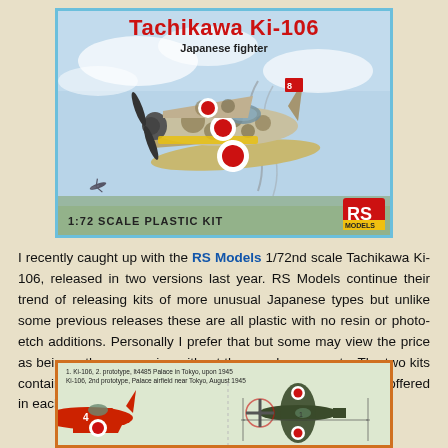[Figure (illustration): RS Models box art for Tachikawa Ki-106 Japanese fighter, 1:72 scale plastic kit. Shows a camouflaged Japanese WWII fighter aircraft with red rising sun markings in flight, with RS Models logo and blue border.]
I recently caught up with the RS Models 1/72nd scale Tachikawa Ki-106, released in two versions last year. RS Models continue their trend of releasing kits of more unusual Japanese types but unlike some previous releases these are all plastic with no resin or photo-etch additions. Personally I prefer that but some may view the price as being rather expensive without these enhancements. The two kits contain identical parts, differing only in the markings options offered in each.
[Figure (illustration): Profile/plan view drawing of the Ki-106 aircraft showing two prototype variants, with markings notes indicating Ki-106 2nd prototype, Itabasi Palace in Tokyo, upon 1945 and Ki-106, 2nd prototype, Palace airfield near Tokyo, August 1945.]